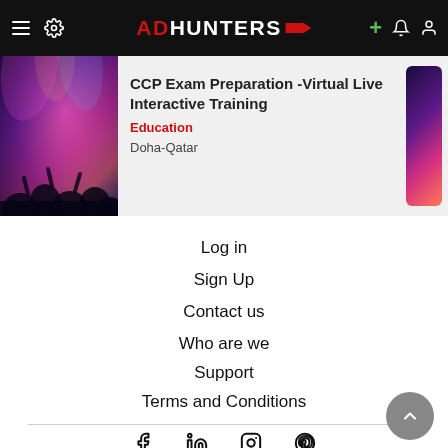ADHUNTERS — navigation bar with menu, settings, logo, plus, bell, and user icons
[Figure (photo): Concert crowd photo with colorful stage lighting (purple, pink, orange) used as listing thumbnail image]
CCP Exam Preparation -Virtual Live Interactive Training
Education
Doha-Qatar
Log in
Sign Up
Contact us
Who are we
Support
Terms and Conditions
Social icons: Facebook, LinkedIn, Instagram, Pinterest. Back to top button.